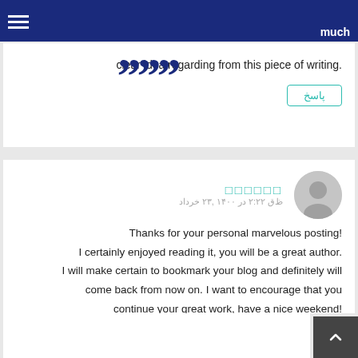much
clear idea regarding from this piece of writing.
پاسخ
□□□□□□ خرداد ۲۳, ۱۴۰۰ در ۲:۲۲ ق‌ظ
Thanks for your personal marvelous posting! I certainly enjoyed reading it, you will be a great author. I will make certain to bookmark your blog and definitely will come back from now on. I want to encourage that you continue your great work, have a nice weekend!
پاسخ